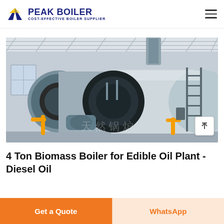PEAK BOILER COST-EFFECTIVE BOILER SUPPLIER
[Figure (photo): Industrial boiler equipment in a factory setting — large cylindrical silver/steel boiler tanks with black front panels, yellow gas pipes, and metal staircases, inside a workshop with white ceiling beams]
4 Ton Biomass Boiler for Edible Oil Plant - Diesel Oil
Get a Quote
WhatsApp